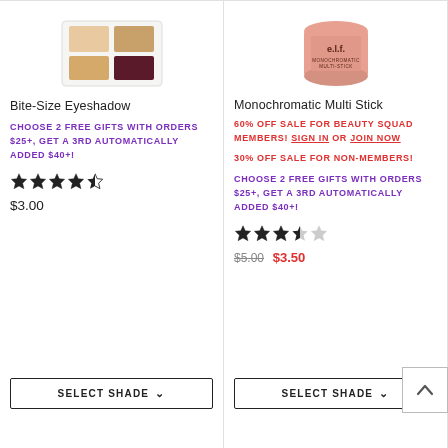[Figure (photo): Bite-Size Eyeshadow palette product image showing neutral and burgundy shades]
Bite-Size Eyeshadow
CHOOSE 2 FREE GIFTS WITH ORDERS $25+, GET A 3RD AUTOMATICALLY ADDED $40+!
[Figure (other): 4.5 out of 5 stars rating]
$3.00
SELECT SHADE
[Figure (photo): e.l.f. Monochromatic Multi Stick pink product in jar]
Monochromatic Multi Stick
60% OFF SALE FOR BEAUTY SQUAD MEMBERS! SIGN IN OR JOIN NOW
30% OFF SALE FOR NON-MEMBERS!
CHOOSE 2 FREE GIFTS WITH ORDERS $25+, GET A 3RD AUTOMATICALLY ADDED $40+!
[Figure (other): 3.5 out of 5 stars rating]
$5.00 $3.50
SELECT SHADE